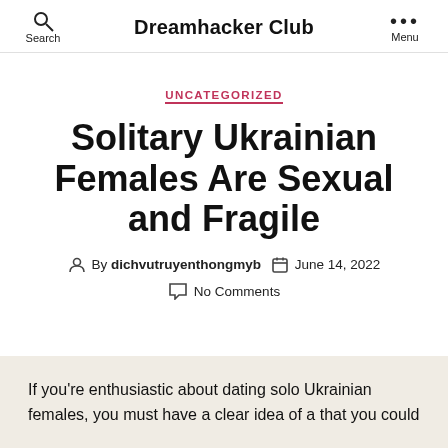Dreamhacker Club
UNCATEGORIZED
Solitary Ukrainian Females Are Sexual and Fragile
By dichvutruyenthongmyb   June 14, 2022
No Comments
If you're enthusiastic about dating solo Ukrainian females, you must have a clear idea of a that you could